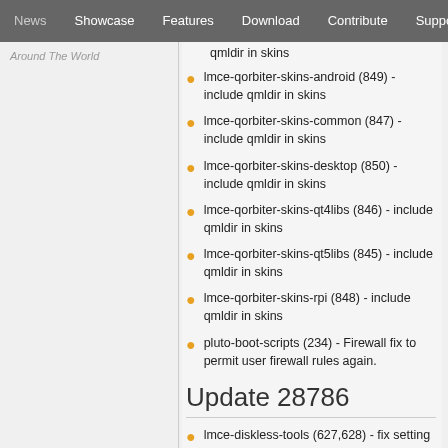News | Showcase | Features | Download | Contribute | Support
Around The World
qmldir in skins
lmce-qorbiter-skins-android (849) - include qmldir in skins
lmce-qorbiter-skins-common (847) - include qmldir in skins
lmce-qorbiter-skins-desktop (850) - include qmldir in skins
lmce-qorbiter-skins-qt4libs (846) - include qmldir in skins
lmce-qorbiter-skins-qt5libs (845) - include qmldir in skins
lmce-qorbiter-skins-rpi (848) - include qmldir in skins
pluto-boot-scripts (234) - Firewall fix to permit user firewall rules again.
Update 28786
lmce-diskless-tools (627,628) - fix setting of /etc/defaultdomain on MDs so networking/dns lookups